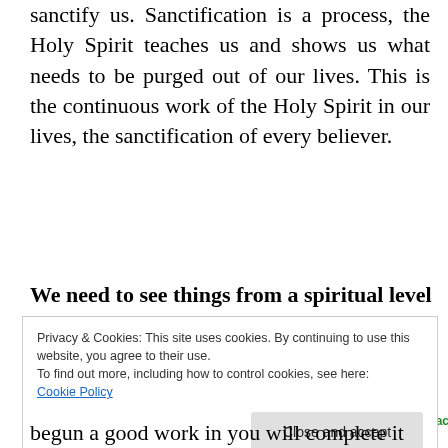sanctify us. Sanctification is a process, the Holy Spirit teaches us and shows us what needs to be purged out of our lives. This is the continuous work of the Holy Spirit in our lives, the sanctification of every believer.
[Figure (other): Jetpack advertisement banner with green background showing Jetpack logo and text 'Back up your site'. Above banner is label 'Advertisements'.]
We need to see things from a spiritual level
Privacy & Cookies: This site uses cookies. By continuing to use this website, you agree to their use.
To find out more, including how to control cookies, see here: Cookie Policy
[Close and accept button]
begun a good work in you will complete it